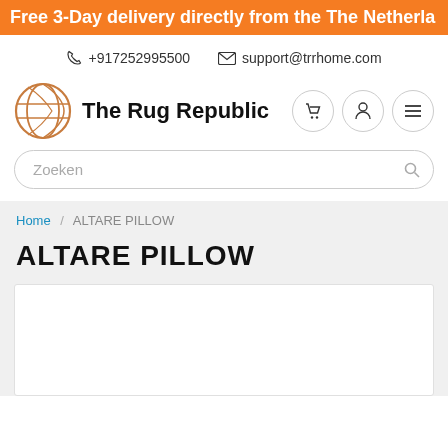Free 3-Day delivery directly from the The Netherla
☎ +917252995500  ✉ support@trrhome.com
[Figure (logo): The Rug Republic circular logo with geometric line art]
The Rug Republic
Zoeken
Home / ALTARE PILLOW
ALTARE PILLOW
[Figure (photo): Product image area for Altare Pillow — white box placeholder]